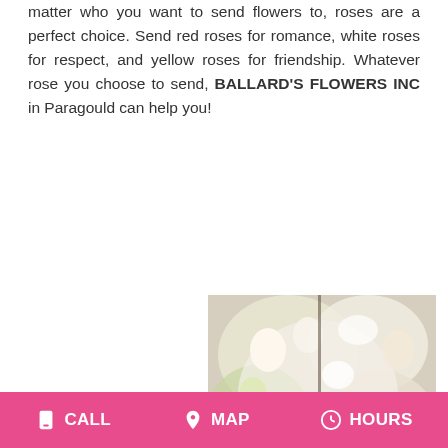matter who you want to send flowers to, roses are a perfect choice. Send red roses for romance, white roses for respect, and yellow roses for friendship. Whatever rose you choose to send, BALLARD'S FLOWERS INC in Paragould can help you!
[Figure (photo): A floral arrangement with white and cream roses, lilies, and other flowers. Overlaid text reads 'DESIGNER'S CHOICE PASSOVER' with a blue banner for the first line and white bold text for the second.]
Passover...
CALL   MAP   HOURS